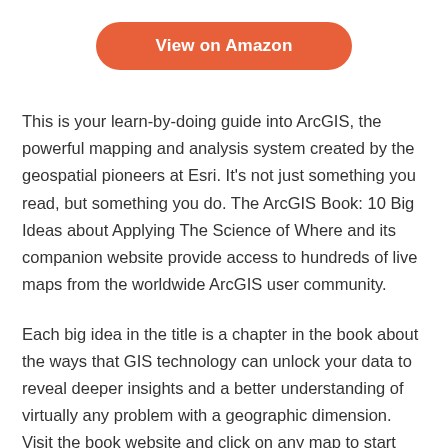[Figure (other): Orange rounded rectangle button labeled 'View on Amazon']
This is your learn-by-doing guide into ArcGIS, the powerful mapping and analysis system created by the geospatial pioneers at Esri. It's not just something you read, but something you do. The ArcGIS Book: 10 Big Ideas about Applying The Science of Where and its companion website provide access to hundreds of live maps from the worldwide ArcGIS user community.
Each big idea in the title is a chapter in the book about the ways that GIS technology can unlock your data to reveal deeper insights and a better understanding of virtually any problem with a geographic dimension. Visit the book website and click on any map to start exploring and